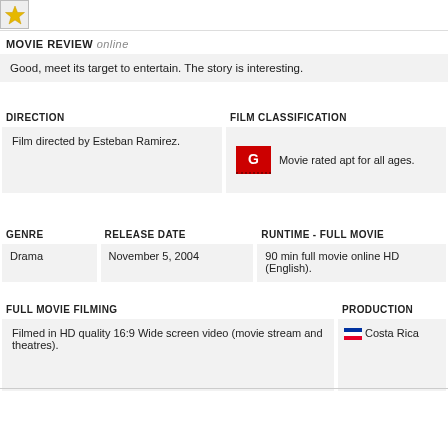[Figure (illustration): Gold star icon image, top left corner]
MOVIE REVIEW  online
Good, meet its target to entertain. The story is interesting.
DIRECTION
Film directed by Esteban Ramirez.
FILM CLASSIFICATION
Movie rated apt for all ages.
GENRE
RELEASE DATE
RUNTIME - FULL MOVIE
Drama
November 5, 2004
90 min full movie online HD (English).
FULL MOVIE FILMING
PRODUCTION
Filmed in HD quality 16:9 Wide screen video (movie stream and theatres).
Costa Rica